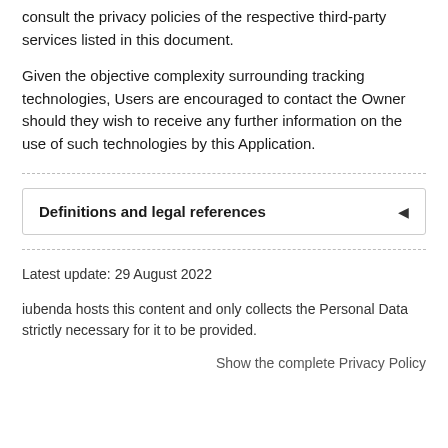consult the privacy policies of the respective third-party services listed in this document.
Given the objective complexity surrounding tracking technologies, Users are encouraged to contact the Owner should they wish to receive any further information on the use of such technologies by this Application.
Definitions and legal references
Latest update: 29 August 2022
iubenda hosts this content and only collects the Personal Data strictly necessary for it to be provided.
Show the complete Privacy Policy